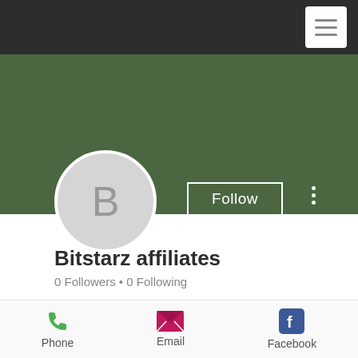[Figure (illustration): Hamburger menu icon (three horizontal lines) on dark top navigation bar]
[Figure (photo): Dark green cover band / profile header background]
[Figure (illustration): Circular avatar with letter B and Follow button and three-dot menu]
Bitstarz affiliates
0 Followers • 0 Following
Profile
Phone
Email
Facebook